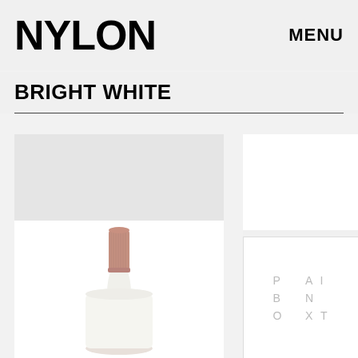NYLON   MENU
BRIGHT WHITE
[Figure (photo): Close-up of a nail polish bottle with a ribbed dusty rose/nude pink cap, white bottle body, photographed against a white background. Left image panel.]
[Figure (photo): Partially visible product image on the right side showing a white box/packaging with the letters P, A, I, B, N, O, X, T arranged in a grid pattern — appears to be a Paintbox nail polish product.]